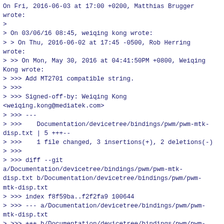On Fri, 2016-06-03 at 17:00 +0200, Matthias Brugger wrote:
>
> On 03/06/16 08:45, weiqing kong wrote:
> > On Thu, 2016-06-02 at 17:45 -0500, Rob Herring wrote:
> >> On Mon, May 30, 2016 at 04:41:50PM +0800, Weiqing Kong wrote:
> >>> Add MT2701 compatible string.
> >>>
> >>> Signed-off-by: Weiqing Kong <weiqing.kong@mediatek.com>
> >>> ---
> >>>    Documentation/devicetree/bindings/pwm/pwm-mtk-disp.txt | 5 +++--
> >>>    1 file changed, 3 insertions(+), 2 deletions(-)
> >>>
> >>> diff --git a/Documentation/devicetree/bindings/pwm/pwm-mtk-disp.txt b/Documentation/devicetree/bindings/pwm/pwm-mtk-disp.txt
> >>> index f8f59ba..f2f2fa9 100644
> >>> --- a/Documentation/devicetree/bindings/pwm/pwm-mtk-disp.txt
> >>> +++ b/Documentation/devicetree/bindings/pwm/pwm-mtk-disp.txt
> >>> @@ -1,9 +1,10 @@
> >>>    MediaTek display PWM controller
> >>>
> >>>    Required properties:
> >>> -   compatible: should be "mediatek,<name>-disp